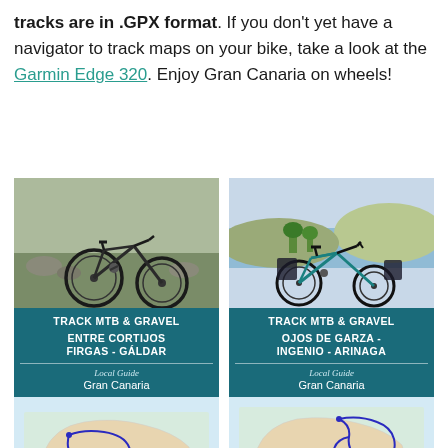tracks are in .GPX format. If you don't yet have a navigator to track maps on your bike, take a look at the Garmin Edge 320. Enjoy Gran Canaria on wheels!
[Figure (photo): Left card: Top photo of mountain bike lying on grassy rocky terrain (Gran Canaria landscape). Below photo: teal banner reading TRACK MTB & GRAVEL / ENTRE CORTIJOS / FIRGAS - GÁLDAR / Local Guide / Gran Canaria. Below banner: map of Gran Canaria with blue route outline and +INFO link.]
[Figure (photo): Right card: Top photo of teal-framed bike with panniers overlooking coastal Gran Canaria scenery. Below photo: teal banner reading TRACK MTB & GRAVEL / OJOS DE GARZA - / INGENIO - ARINAGA / Local Guide / Gran Canaria. Below banner: map of Gran Canaria with blue route outline and +INFO link.]